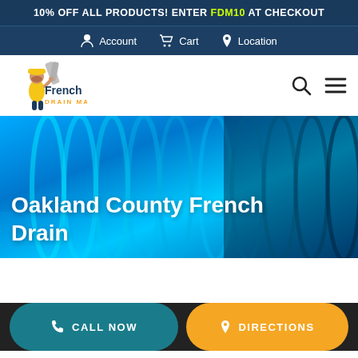10% OFF ALL PRODUCTS! ENTER FDM10 AT CHECKOUT
[Figure (screenshot): Navigation bar with Account, Cart, Location links on dark blue background]
[Figure (logo): French Drain Man logo with cartoon plumber character in yellow outfit]
[Figure (photo): Hero banner image of blue corrugated drainage pipe close-up with title 'Oakland County French Drain']
Oakland County French Drain
CALL NOW   DIRECTIONS